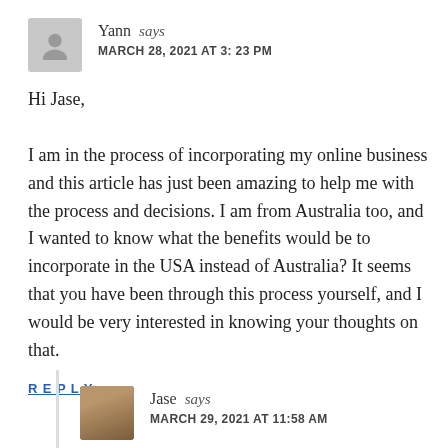Yann says
MARCH 28, 2021 AT 3:23 PM
Hi Jase,

I am in the process of incorporating my online business and this article has just been amazing to help me with the process and decisions. I am from Australia too, and I wanted to know what the benefits would be to incorporate in the USA instead of Australia? It seems that you have been through this process yourself, and I would be very interested in knowing your thoughts on that.
REPLY
Jase says
MARCH 29, 2021 AT 11:58 AM